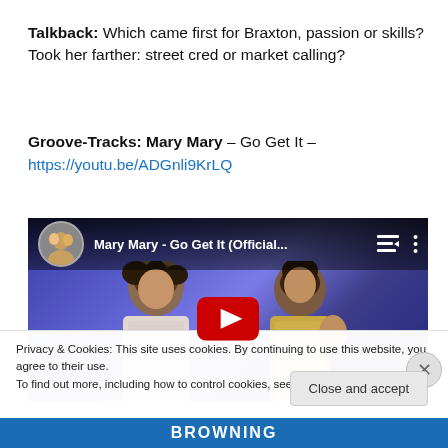Talkback: Which came first for Braxton, passion or skills? Took her farther: street cred or market calling?
Groove-Tracks: Mary Mary – Go Get It – https://youtu.be/ADGnli9KrLQ
[Figure (screenshot): YouTube video embed showing 'Mary Mary - Go Get It (Official...' with two women singing against a blue background and a red play button overlay]
Privacy & Cookies: This site uses cookies. By continuing to use this website, you agree to their use. To find out more, including how to control cookies, see here: Cookie Policy
Close and accept